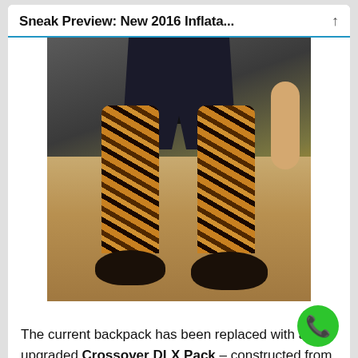Sneak Preview: New 2016 Inflata...
[Figure (photo): Person standing outdoors wearing black shorts, patterned leggings with yellow/orange/black tribal print, sandals, and a black Aqua backpack. Dry grassy ground visible in background. Only lower torso and legs are shown.]
The current backpack has been replaced with an upgraded Crossover DLX Pack – constructed from a 600 denier polyester/PVC laminate, the